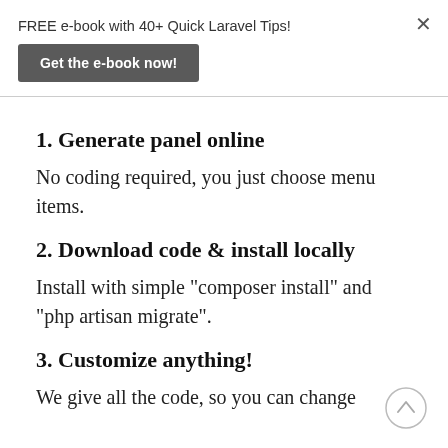FREE e-book with 40+ Quick Laravel Tips!
Get the e-book now!
1. Generate panel online
No coding required, you just choose menu items.
2. Download code & install locally
Install with simple "composer install" and "php artisan migrate".
3. Customize anything!
We give all the code, so you can change